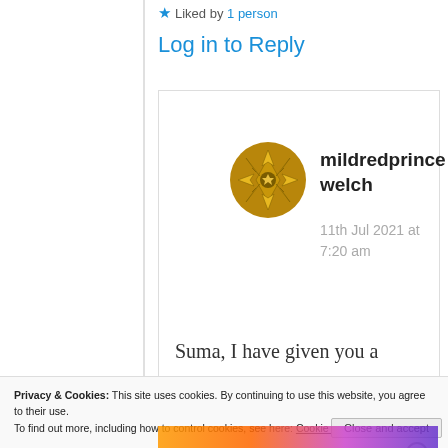★ Liked by 1 person
Log in to Reply
[Figure (illustration): User avatar icon for mildredprinceWelch - a golden/dark yellow circular badge with a geometric star/compass rose design]
mildredprince welch
11th Jul 2021 at 7:20 am
Suma, I have given you a
Privacy & Cookies: This site uses cookies. By continuing to use this website, you agree to their use.
To find out more, including how to control cookies, see here: Cookie Policy
Close and accept